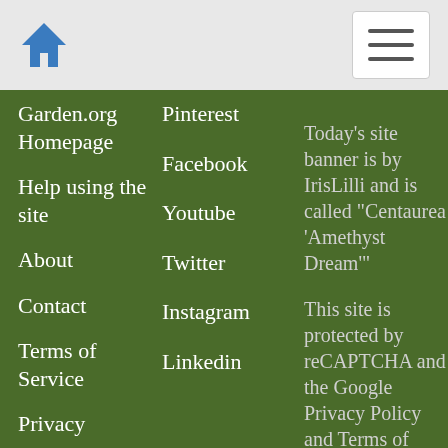Home | Menu
Garden.org Homepage
Help using the site
About
Contact
Terms of Service
Privacy
Memberlist
Acorns
Pinterest
Facebook
Youtube
Twitter
Instagram
Linkedin
Today's site banner is by IrisLilli and is called "Centaurea 'Amethyst Dream'"
This site is protected by reCAPTCHA and the Google Privacy Policy and Terms of